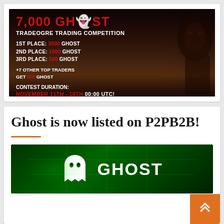[Figure (illustration): Dark fantasy-themed promotional banner for a 7,000 GHOST TradeOgre Trading Competition. Text lists prizes: 1st Place 3000 GHOST, 2nd Place 1000 GHOST, 3rd Place 500 GHOST, +7 other top traders get 500 GHOST. Contest Duration: November 11th - 18th 00:00 UTC! Monster/ogre character silhouette on the right side.]
Ghost is now listed on P2PB2B!
[Figure (logo): Green glowing background with a white ghost icon and the word GHOST in large white bold letters.]